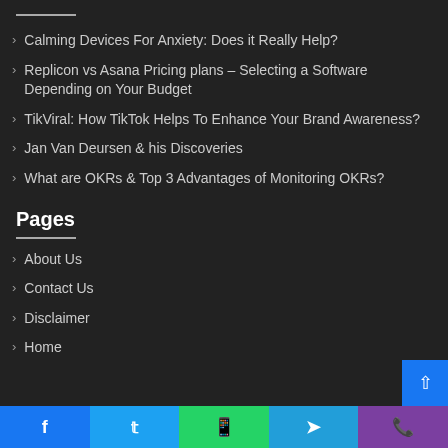Calming Devices For Anxiety: Does it Really Help?
Replicon vs Asana Pricing plans – Selecting a Software Depending on Your Budget
TikViral: How TikTok Helps To Enhance Your Brand Awareness?
Jan Van Deursen & his Discoveries
What are OKRs & Top 3 Advantages of Monitoring OKRs?
Pages
About Us
Contact Us
Disclaimer
Home
Facebook Twitter WhatsApp Telegram Phone